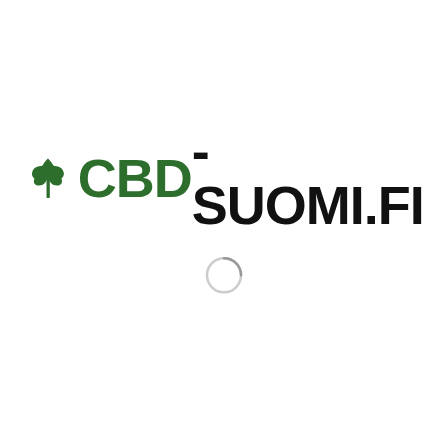[Figure (logo): CBD-SUOMI.FI logo with a green cannabis leaf icon to the left of the text. 'CBD' is in green bold font, '-SUOMI.FI' is in black bold font. Below the logo is a loading spinner circle.]